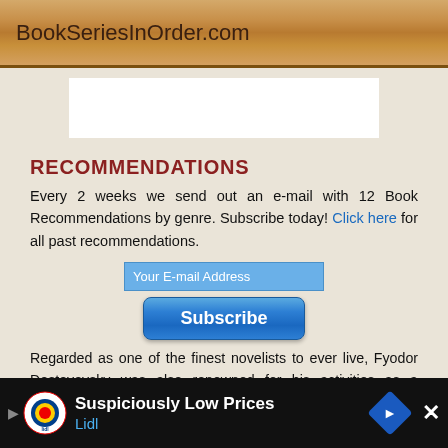BookSeriesInOrder.com
RECOMMENDATIONS
Every 2 weeks we send out an e-mail with 12 Book Recommendations by genre. Subscribe today! Click here for all past recommendations.
Your E-mail Address
Subscribe
Regarded as one of the finest novelists to ever live, Fyodor Dostoyevsky was also renowned for his activities as a journalist. The Russian novelist was well-known in his country during his life. He has since been praised all around the world as a writer and is best known for w... (next of p... vo... it
[Figure (other): Advertisement banner at bottom showing Lidl logo with text 'Suspiciously Low Prices' and 'Lidl' with a blue diamond road sign icon and close button]